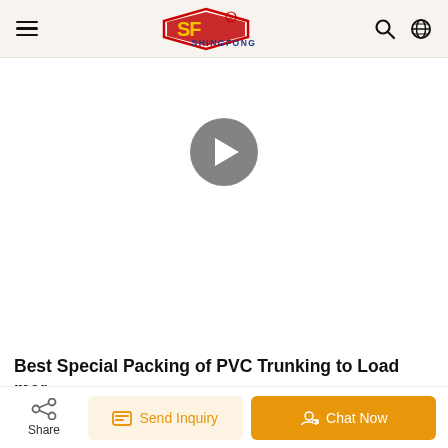Shingfong — navigation header with hamburger menu, logo, search and globe icons
[Figure (screenshot): Video player area with a dark circular play button on white background]
Best Special Packing of PVC Trunking to Load mor...
[Figure (photo): Partial thumbnail photo of a warehouse/factory interior showing metal roof structure]
Share | Send Inquiry | Chat Now